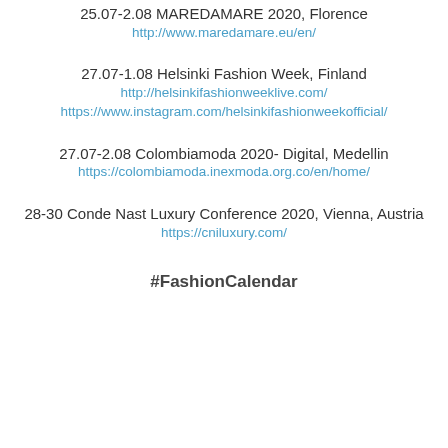25.07-2.08 MAREDAMARE 2020, Florence
http://www.maredamare.eu/en/
27.07-1.08 Helsinki Fashion Week, Finland
http://helsinkifashionweeklive.com/
https://www.instagram.com/helsinkifashionweekofficial/
27.07-2.08 Colombiamoda 2020- Digital, Medellin
https://colombiamoda.inexmoda.org.co/en/home/
28-30 Conde Nast Luxury Conference 2020, Vienna, Austria
https://cniluxury.com/
#FashionCalendar